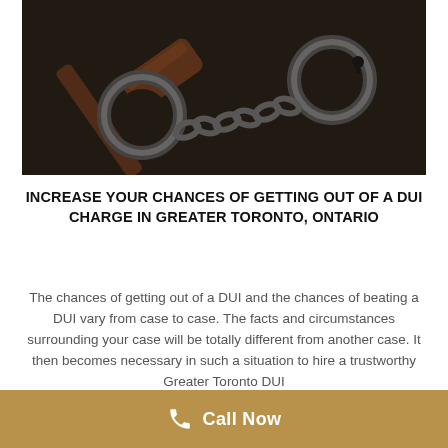[Figure (photo): Photo of a wooden judge's gavel and metal handcuffs on a dark surface]
INCREASE YOUR CHANCES OF GETTING OUT OF A DUI CHARGE IN GREATER TORONTO, ONTARIO
The chances of getting out of a DUI and the chances of beating a DUI vary from case to case. The facts and circumstances surrounding your case will be totally different from another case. It then becomes necessary in such a situation to hire a trustworthy Greater Toronto DUI
Call Now